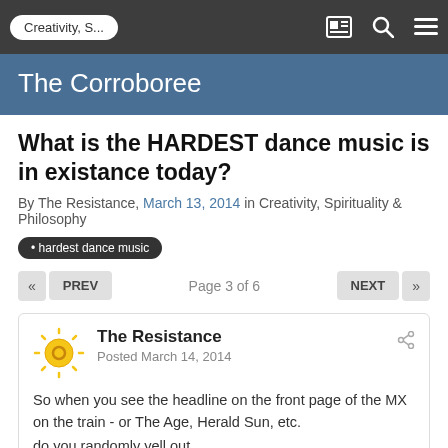Creativity, S...
The Corroboree
What is the HARDEST dance music is in existance today?
By The Resistance, March 13, 2014 in Creativity, Spirituality & Philosophy
hardest dance music
« PREV   Page 3 of 6   NEXT »
The Resistance
Posted March 14, 2014
So when you see the headline on the front page of the MX on the train - or The Age, Herald Sun, etc.
do you randomly yell out
"Stop shouting at me!!!!"